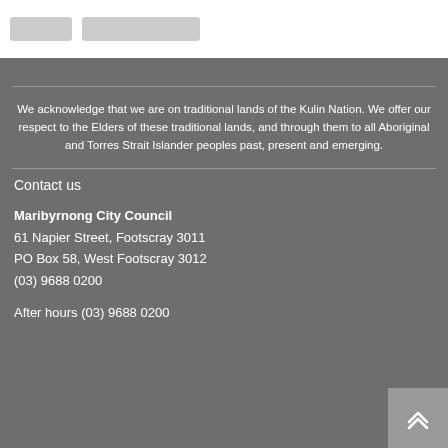We acknowledge that we are on traditional lands of the Kulin Nation. We offer our respect to the Elders of these traditional lands, and through them to all Aboriginal and Torres Strait Islander peoples past, present and emerging.
Contact us
Maribyrnong City Council
61 Napier Street, Footscray 3011
PO Box 58, West Footscray 3012
(03) 9688 0200
After hours (03) 9688 0200